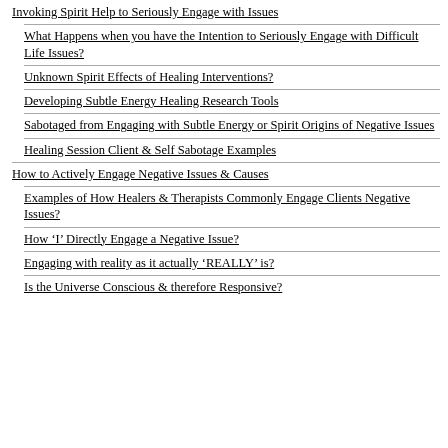Invoking Spirit Help to Seriously Engage with Issues
What Happens when you have the Intention to Seriously Engage with Difficult Life Issues?
Unknown Spirit Effects of Healing Interventions?
Developing Subtle Energy Healing Research Tools
Sabotaged from Engaging with Subtle Energy or Spirit Origins of Negative Issues
Healing Session Client & Self Sabotage Examples
How to Actively Engage Negative Issues & Causes
Examples of How Healers & Therapists Commonly Engage Clients Negative Issues?
How ‘I’ Directly Engage a Negative Issue?
Engaging with reality as it actually ‘REALLY’ is?
Is the Universe Conscious & therefore Responsive?